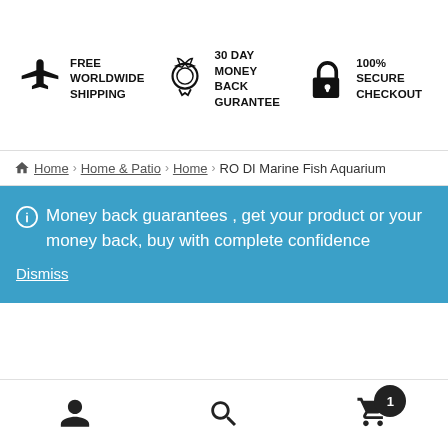[Figure (infographic): Three trust badge items: airplane icon with FREE WORLDWIDE SHIPPING, medal/ribbon icon with 30 DAY MONEY BACK GURANTEE, and padlock icon with 100% SECURE CHECKOUT]
Home › Home & Patio › Home › RO DI Marine Fish Aquarium
Money back guarantees , get your product or your money back, buy with complete confidence
Dismiss